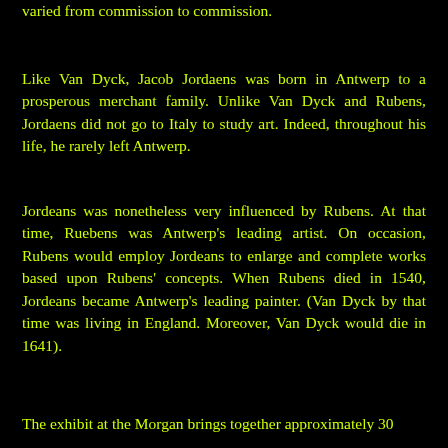varied from commission to commission.
Like Van Dyck, Jacob Jordaens was born in Antwerp to a prosperous merchant family. Unlike Van Dyck and Rubens, Jordaens did not go to Italy to study art. Indeed, throughout his life, he rarely left Antwerp.
Jordeans was nonetheless very influenced by Rubens. At that time, Ruebens was Antwerp's leading artist. On occasion, Rubens would employ Jordeans to enlarge and complete works based upon Rubens' concepts. When Rubens died in 1540, Jordeans became Antwerp's leading painter. (Van Dyck by that time was living in England. Moreover, Van Dyck would die in 1641).
The exhibit at the Morgan brings together approximately 30